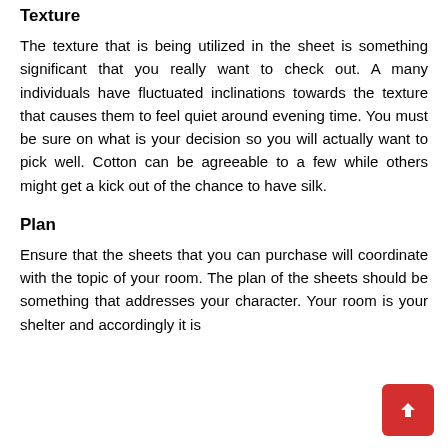Texture
The texture that is being utilized in the sheet is something significant that you really want to check out. A many individuals have fluctuated inclinations towards the texture that causes them to feel quiet around evening time. You must be sure on what is your decision so you will actually want to pick well. Cotton can be agreeable to a few while others might get a kick out of the chance to have silk.
Plan
Ensure that the sheets that you can purchase will coordinate with the topic of your room. The plan of the sheets should be something that addresses your character. Your room is your shelter and accordingly it is